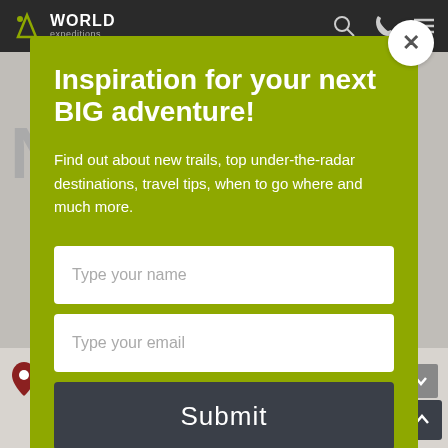[Figure (screenshot): Website navigation bar with World Expeditions logo and search/phone/menu icons]
Inspiration for your next BIG adventure!
Find out about new trails, top under-the-radar destinations, travel tips, when to go where and much more.
Type your name
Type your email
Submit
Day 3 Trek to Lake Leones to view the Leones Glacier
Ask an Expert